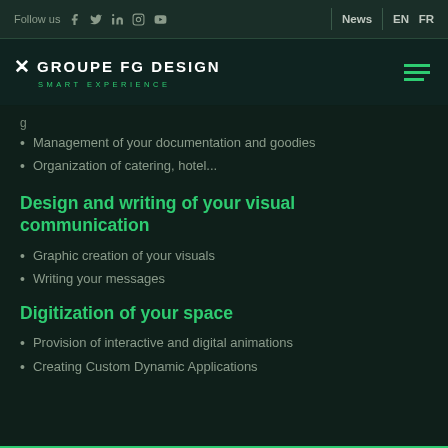Follow us | f | Twitter | LinkedIn | Instagram | YouTube | News | EN | FR
[Figure (logo): Groupe FG Design logo with X mark and SMART EXPERIENCE tagline, green hamburger menu icon]
Management of your documentation and goodies
Organization of catering, hotel...
Design and writing of your visual communication
Graphic creation of your visuals
Writing your messages
Digitization of your space
Provision of interactive and digital animations
Creating Custom Dynamic Applications